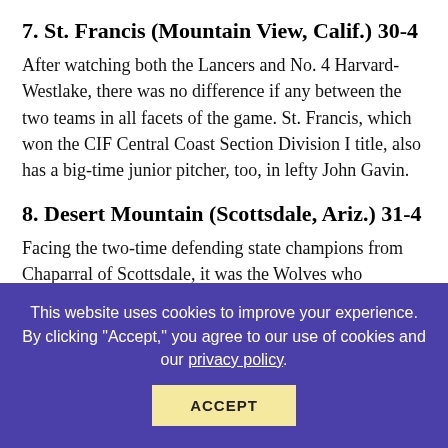7. St. Francis (Mountain View, Calif.) 30-4
After watching both the Lancers and No. 4 Harvard-Westlake, there was no difference if any between the two teams in all facets of the game. St. Francis, which won the CIF Central Coast Section Division I title, also has a big-time junior pitcher, too, in lefty John Gavin.
8. Desert Mountain (Scottsdale, Ariz.) 31-4
Facing the two-time defending state champions from Chaparral of Scottsdale, it was the Wolves who captured their first state title with a 4-3 victory in the Division I finals. Kyle Palmer drove in the game-winning run in the eighth inning.
9. Archbishop McCarthy (Santaluces, Fla.) 28-4
It was on the game...
This website uses cookies to improve your experience. By clicking "Accept," you agree to our use of cookies and our privacy policy.